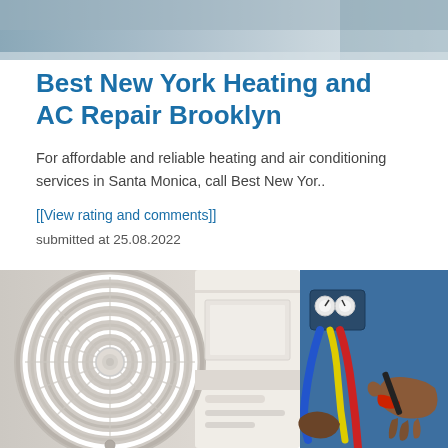[Figure (photo): Top portion of a photo showing a technician in a blue shirt working on HVAC equipment, cropped at the bottom]
Best New York Heating and AC Repair Brooklyn
For affordable and reliable heating and air conditioning services in Santa Monica, call Best New Yor..
[[View rating and comments]]
submitted at 25.08.2022
[Figure (photo): Photo showing an AC outdoor unit with circular fan grille on the left side, and a technician's hands working on refrigerant gauges/hoses on the right side against a blue background]